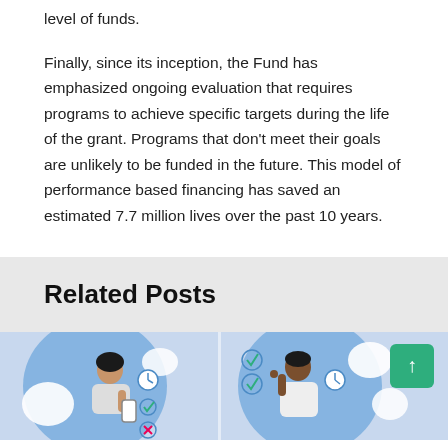level of funds.
Finally, since its inception, the Fund has emphasized ongoing evaluation that requires programs to achieve specific targets during the life of the grant. Programs that don't meet their goals are unlikely to be funded in the future. This model of performance based financing has saved an estimated 7.7 million lives over the past 10 years.
Related Posts
[Figure (illustration): Illustration showing two people checking items on clipboards or tablets with clock/checklist icons in a blue circular background, with a green scroll-to-top button overlaid.]